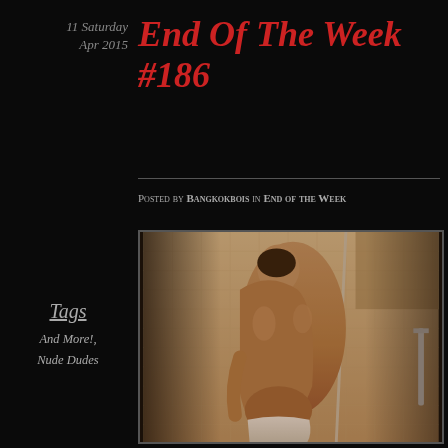11 Saturday Apr 2015
End Of The Week #186
Posted by Bangkokbois in End of the Week
≈ Comments Off on End Of The Week #186
Tags
And More!,
Nude Dudes
[Figure (photo): A nude male figure bending forward in a shower, back view, holding a white towel at the lower body, glass shower enclosure visible]